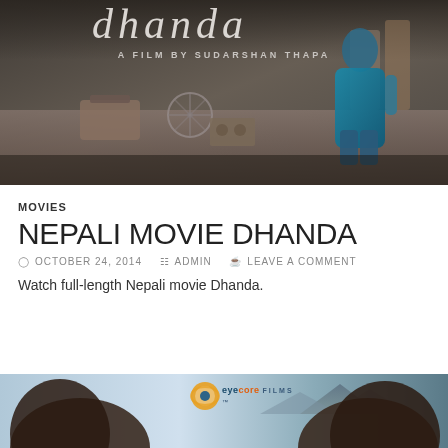[Figure (photo): Movie poster for Dhanda - A Film by Sudarshan Thapa. Shows stylized title text at top, a scene with furniture and a fan in the middle, and a person in teal/cyan clothing on the right side against a dark wall background.]
MOVIES
NEPALI MOVIE DHANDA
OCTOBER 24, 2014  ADMIN  LEAVE A COMMENT
Watch full-length Nepali movie Dhanda.
[Figure (photo): Bottom banner showing Eyecore Films logo and two people partially visible at bottom of page, with mountain/nature background.]